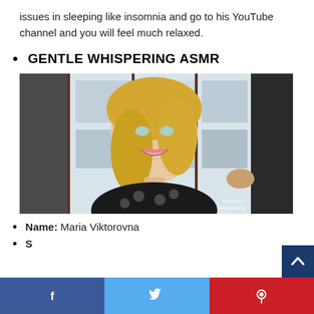issues in sleeping like insomnia and go to his YouTube channel and you will feel much relaxed.
GENTLE WHISPERING ASMR
[Figure (photo): A smiling blonde woman in a patterned black and white top, photographed in front of a clothing store background with garments on display. Watermark reads '*Gentle Whispering']
Name: Maria Viktorovna
S